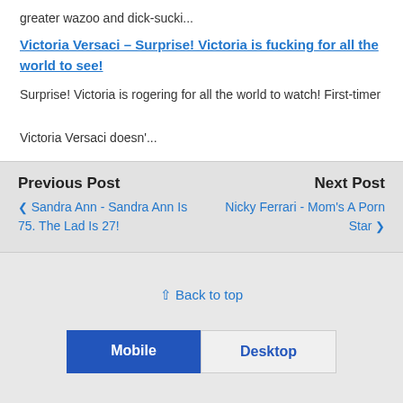greater wazoo and dick-sucki...
Victoria Versaci – Surprise! Victoria is fucking for all the world to see!
Surprise! Victoria is rogering for all the world to watch! First-timer Victoria Versaci doesn'...
Previous Post
❮ Sandra Ann - Sandra Ann Is 75. The Lad Is 27!
Next Post
Nicky Ferrari - Mom's A Porn Star ❯
⇧ Back to top
Mobile
Desktop